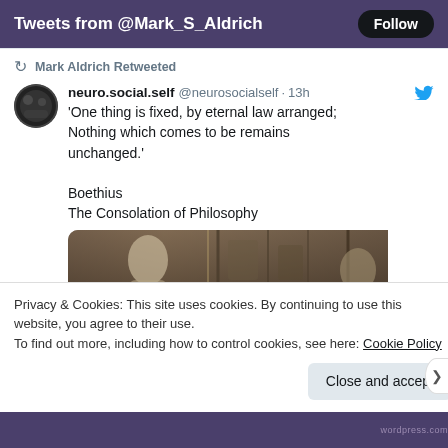Tweets from @Mark_S_Aldrich
Mark Aldrich Retweeted
neuro.social.self @neurosocialself · 13h
'One thing is fixed, by eternal law arranged; Nothing which comes to be remains unchanged.'

Boethius
The Consolation of Philosophy
[Figure (photo): Sepia-toned image of a medieval stone sculpture or relief, showing a robed figure in a devotional or philosophical pose.]
Privacy & Cookies: This site uses cookies. By continuing to use this website, you agree to their use.
To find out more, including how to control cookies, see here: Cookie Policy
Close and accept